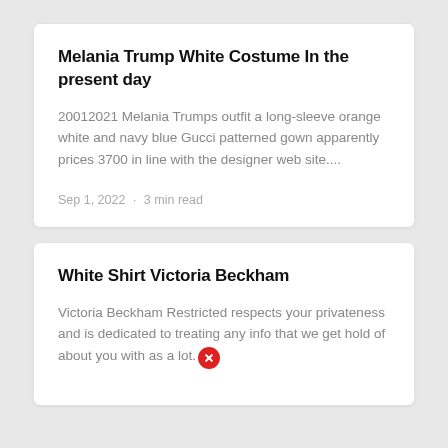Melania Trump White Costume In the present day
20012021 Melania Trumps outfit a long-sleeve orange white and navy blue Gucci patterned gown apparently prices 3700 in line with the designer web site....
Sep 1, 2022 · 3 min read
White Shirt Victoria Beckham
Victoria Beckham Restricted respects your privateness and is dedicated to treating any info that we get hold of about you with as a lot.